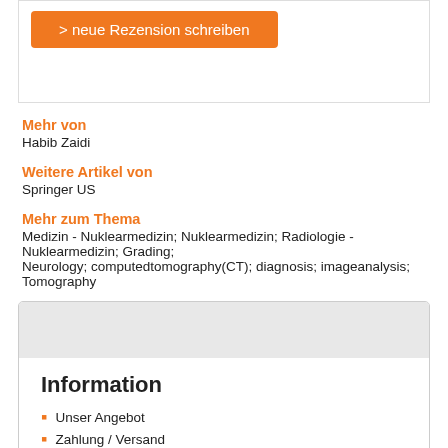> neue Rezension schreiben
Mehr von
Habib Zaidi
Weitere Artikel von
Springer US
Mehr zum Thema
Medizin - Nuklearmedizin; Nuklearmedizin; Radiologie - Nuklearmedizin; Grading; Neurology; computedtomography(CT); diagnosis; imageanalysis; Tomography
Information
Unser Angebot
Zahlung / Versand